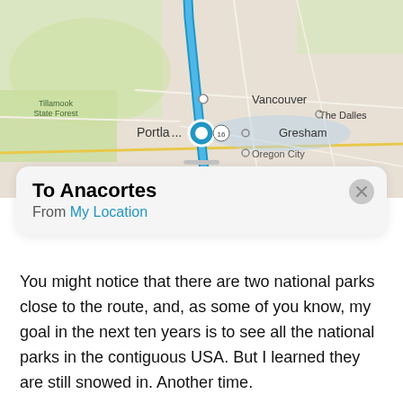[Figure (screenshot): Apple Maps screenshot showing a route from Portland, Oregon area to Anacortes, Washington. A blue route line runs north along I-5. Map labels include Vancouver, Tillamook State Forest, Portland, Gresham, The Dalles, Oregon City, and National Forest. A location dot is shown near Portland.]
To Anacortes
From My Location
You might notice that there are two national parks close to the route, and, as some of you know, my goal in the next ten years is to see all the national parks in the contiguous USA. But I learned they are still snowed in. Another time.
The most eventful moments driving up Interstate 5 were crossing through Portland and Seattle, both along waterways spanned by a sculptural maze of concrete